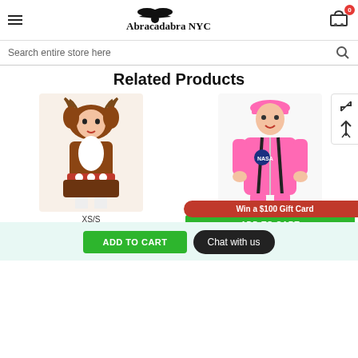Abracadabra NYC
Search entire store here
Related Products
[Figure (photo): Woman wearing a sexy reindeer Halloween costume with brown fur, white pom-poms, reindeer antler hood, and short skirt. Size label XS/S shown below.]
[Figure (photo): Child wearing a pink NASA astronaut Halloween costume jumpsuit with black straps and a pink cap.]
Win a $100 Gift Card
ADD TO CART
ADD TO CART
Sexy Reindeer
Chat with us
ADD TO CART